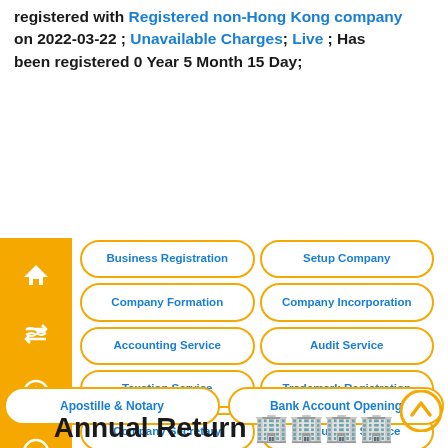registered with Registered non-Hong Kong company on 2022-03-22 ; Unavailable Charges; Live ; Has been registered 0 Year 5 Month 15 Day;
[Figure (infographic): Navigation sidebar with orange background showing home, shuffle, up-arrow, down-arrow, and right-arrow icons. Grid of rounded-rectangle buttons with orange borders and blue text: Business Registration, Setup Company, Company Formation, Company Incorporation, Accounting Service, Audit Service, Taxation Service, Trademark Registration, Company Secretary, Accounting Service, Audit Service, Taxation Service, Apostille & Notary, Bank Account Opening.]
Annual Return 🏢🏢🏢🏢